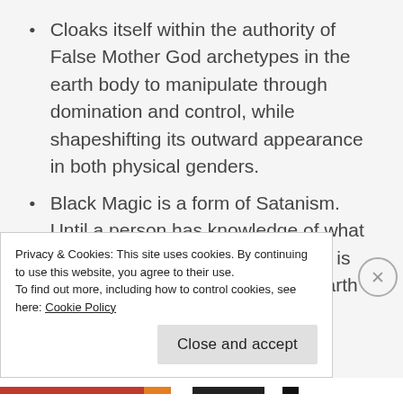Cloaks itself within the authority of False Mother God archetypes in the earth body to manipulate through domination and control, while shapeshifting its outward appearance in both physical genders.
Black Magic is a form of Satanism. Until a person has knowledge of what Black Magic actually is and how it is perpetrated and represented in earth elemental energy, and
Privacy & Cookies: This site uses cookies. By continuing to use this website, you agree to their use.
To find out more, including how to control cookies, see here: Cookie Policy